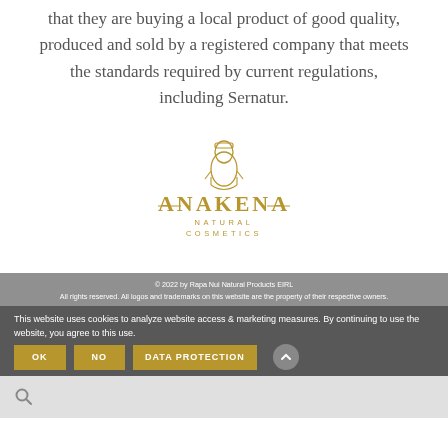that they are buying a local product of good quality, produced and sold by a registered company that meets the standards required by current regulations, including Sernatur.
[Figure (logo): Anakena Natural Cosmetics logo: stylized Easter Island moai figure above the text 'ANAKENA NATURAL COSMETICS' in gold/ochre color]
© 2022 by Rapa Nui Natural Products EIRL
All rights reserved. All logos and trademarks on this website are the property of their respective owners.
This website uses cookies to analyze website access & marketing measures. By continuing to use the website, you agree to this use.